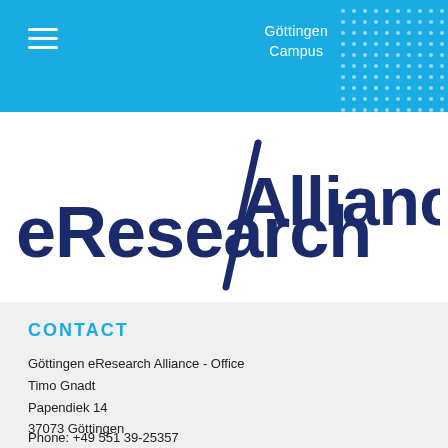Göttingen Campus
[Figure (logo): eResearch Alliance logo with dark navy text 'eResearch' on the left, a diagonal slash, and 'Alliance' on the right]
CONTACT
Göttingen eResearch Alliance - Office
Timo Gnadt
Papendiek 14
37073 Göttingen
Phone: +49 551 39-25357